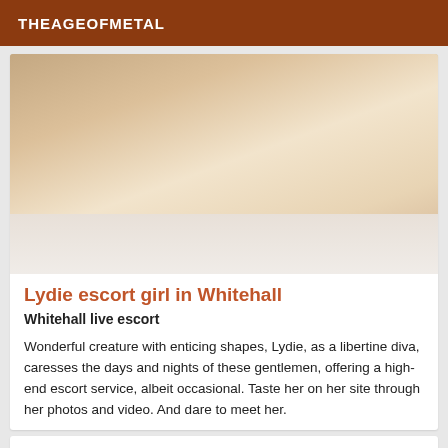THEAGEOFMETAL
[Figure (photo): Woman in white lingerie and black heels lying on a white bed, face pixelated/blurred]
Lydie escort girl in Whitehall
Whitehall live escort
Wonderful creature with enticing shapes, Lydie, as a libertine diva, caresses the days and nights of these gentlemen, offering a high-end escort service, albeit occasional. Taste her on her site through her photos and video. And dare to meet her.